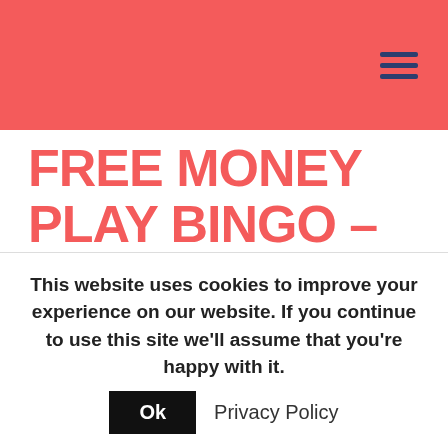FREE MONEY PLAY BINGO – CASINO BONUS WITHOUT DEPOSIT 2020
by | May 26, 2021 | Uncategorized
This website uses cookies to improve your experience on our website. If you continue to use this site we'll assume that you're happy with it. Ok Privacy Policy